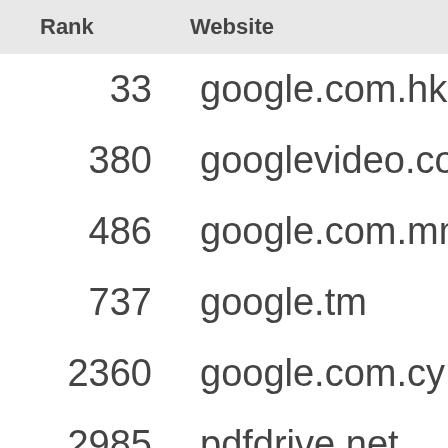| Rank | Website |
| --- | --- |
| 33 | google.com.hk |
| 380 | googlevideo.com |
| 486 | google.com.mm |
| 737 | google.tm |
| 2360 | google.com.cy |
| 2985 | pdfdrive.net |
| 5747 | google.al |